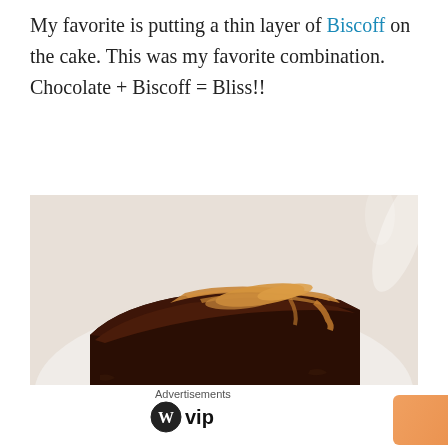My favorite is putting a thin layer of Biscoff on the cake. This was my favorite combination. Chocolate + Biscoff = Bliss!!
[Figure (photo): A slice of dark chocolate cake topped with a swirl of Biscoff (caramel cookie butter) spread, served on a white plate. The cake is dense and moist-looking, dark brown in color.]
Advertisements
[Figure (logo): WordPress VIP logo — circle W icon followed by 'vip' text in bold]
[Figure (infographic): Orange gradient advertisement banner with a 'Learn more →' button in black]